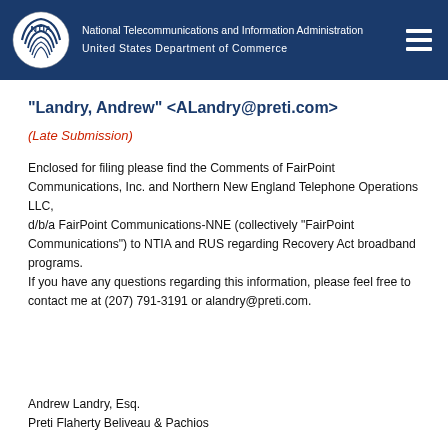National Telecommunications and Information Administration
United States Department of Commerce
"Landry, Andrew" <ALandry@preti.com>
(Late Submission)
Enclosed for filing please find the Comments of FairPoint Communications, Inc. and Northern New England Telephone Operations LLC, d/b/a FairPoint Communications-NNE (collectively "FairPoint Communications") to NTIA and RUS regarding Recovery Act broadband programs.
If you have any questions regarding this information, please feel free to contact me at (207) 791-3191 or alandry@preti.com.
Andrew Landry, Esq.
Preti Flaherty Beliveau & Pachios